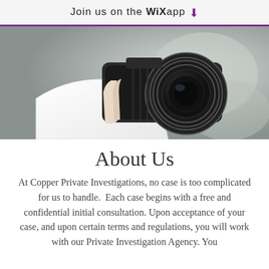Join us on the WiX app ⬇
[Figure (photo): A person holding a camera with a large lens, close-up shot against a blurred background]
About Us
At Copper Private Investigations, no case is too complicated for us to handle.  Each case begins with a free and confidential initial consultation. Upon acceptance of your case, and upon certain terms and regulations, you will work with our Private Investigation Agency. You